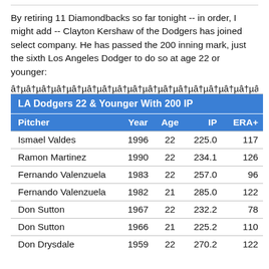By retiring 11 Diamondbacks so far tonight -- in order, I might add -- Clayton Kershaw of the Dodgers has joined select company. He has passed the 200 inning mark, just the sixth Los Angeles Dodger to do so at age 22 or younger:
â†µâ†µâ†µâ†µâ†µâ†µâ†µâ†µâ†µâ†µâ†µâ†µâ†µâ†µâ†µâ†µâ†µâ†µâ†µâ†µâ†µ
| Pitcher | Year | Age | IP | ERA+ |
| --- | --- | --- | --- | --- |
| Ismael Valdes | 1996 | 22 | 225.0 | 117 |
| Ramon Martinez | 1990 | 22 | 234.1 | 126 |
| Fernando Valenzuela | 1983 | 22 | 257.0 | 96 |
| Fernando Valenzuela | 1982 | 21 | 285.0 | 122 |
| Don Sutton | 1967 | 22 | 232.2 | 78 |
| Don Sutton | 1966 | 21 | 225.2 | 110 |
| Don Drysdale | 1959 | 22 | 270.2 | 122 |